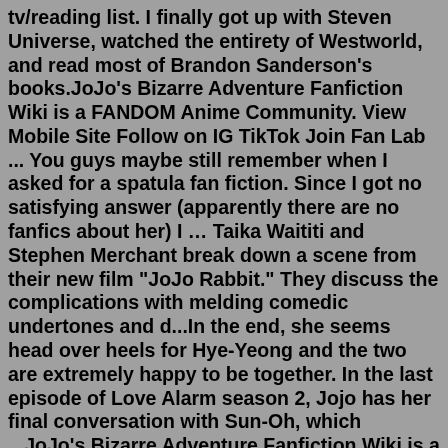tv/reading list. I finally got up with Steven Universe, watched the entirety of Westworld, and read most of Brandon Sanderson's books.JoJo's Bizarre Adventure Fanfiction Wiki is a FANDOM Anime Community. View Mobile Site Follow on IG TikTok Join Fan Lab ... You guys maybe still remember when I asked for a spatula fan fiction. Since I got no satisfying answer (apparently there are no fanfics about her) I … Taika Waititi and Stephen Merchant break down a scene from their new film "JoJo Rabbit." They discuss the complications with melding comedic undertones and d...In the end, she seems head over heels for Hye-Yeong and the two are extremely happy to be together. In the last episode of Love Alarm season 2, Jojo has her final conversation with Sun-Oh, which ...JoJo's Bizarre Adventure Fanfiction Wiki is a FANDOM Anime Community. View Mobile Site Follow on IG TikTok Join Fan Lab ... Jojo chat fic drabbles WitchFood. Chapter 2. Summary: Dio asks Kars about something. Notes: Ahh sorry this chapter was a bit short.(Special thanks to my bro… Our